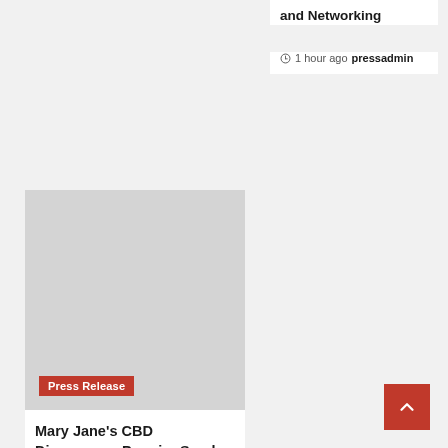and Networking
1 hour ago  pressadmin
[Figure (photo): Gray placeholder image for article with Press Release badge overlay]
Mary Jane’s CBD Dispensary: Premier Smoke & Vape Shop Expands to Austin, TX
1 hour ago  pressadmin